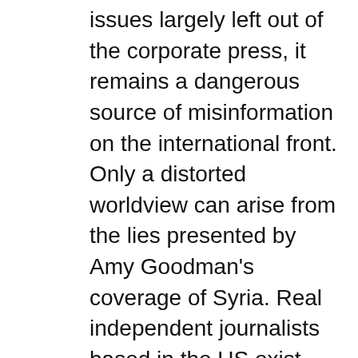issues largely left out of the corporate press, it remains a dangerous source of misinformation on the international front. Only a distorted worldview can arise from the lies presented by Amy Goodman's coverage of Syria. Real independent journalists based in the US exist, but have little financial or political support. Journalism and media must be placed in the context of the generalized struggle against US imperialism. Independent media thrives in periods where peoples' movements are vibrant and strong. When movements are weak, so too is independent journalism. The corporate media landscape in the US will remain dominant as long as the alternative is